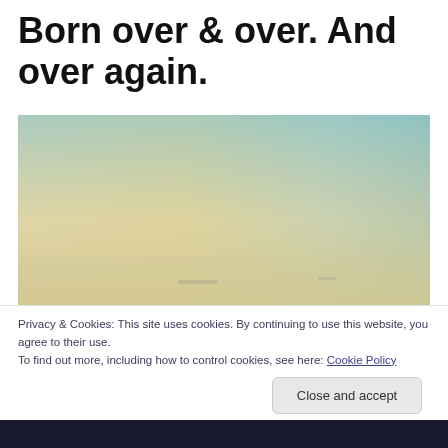Born over & over. And over again.
[Figure (photo): A hazy sky landscape photo with soft gradient tones of pale yellow, cream, and muted teal/blue-green.]
Privacy & Cookies: This site uses cookies. By continuing to use this website, you agree to their use.
To find out more, including how to control cookies, see here: Cookie Policy
Close and accept